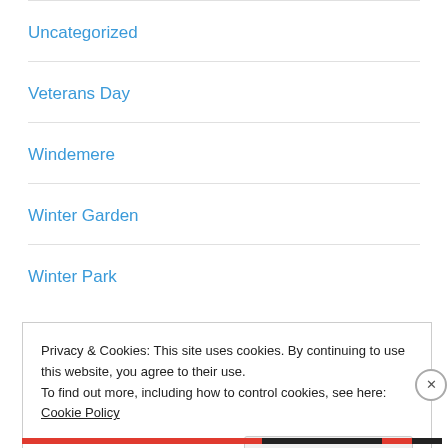Uncategorized
Veterans Day
Windemere
Winter Garden
Winter Park
ARCHIVES
Privacy & Cookies: This site uses cookies. By continuing to use this website, you agree to their use.
To find out more, including how to control cookies, see here: Cookie Policy
Close and accept